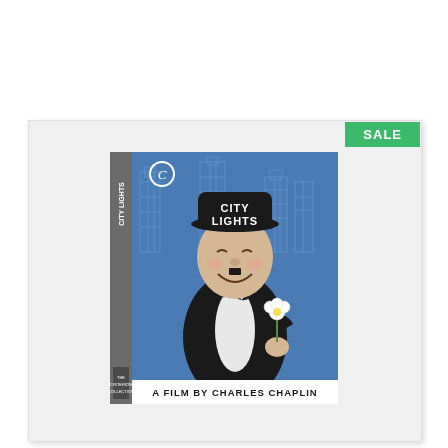[Figure (photo): Criterion Collection DVD/Blu-ray cover of 'City Lights' - A Film by Charles Chaplin. The cover shows a stylized illustration of Charlie Chaplin's character wearing a bowler hat with 'CITY LIGHTS' written on it, holding a flower, against a blue background with a blueprint-style city skyline. The spine reads 'CITY LIGHTS'. Text at the bottom reads 'A FILM BY CHARLES CHAPLIN'.]
SALE